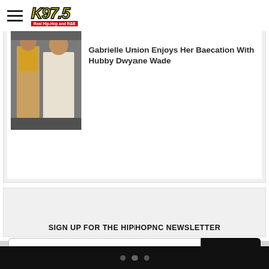K97.5 Real Hip-Hop and R&B
Gabrielle Union Enjoys Her Baecation With Hubby Dwyane Wade
[Figure (photo): Photo of two women, one in yellow top and one in white dress]
[Figure (other): Advertisement or empty card area]
SIGN UP FOR THE HIPHOPNC NEWSLETTER
Email Address
SUBMIT
• • •